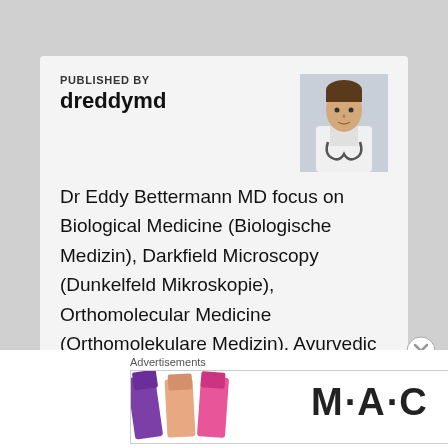PUBLISHED BY
dreddymd
[Figure (photo): Profile photo of Dr. Eddy Bettermann MD, a doctor in white coat with stethoscope]
Dr Eddy Bettermann MD focus on Biological Medicine (Biologische Medizin), Darkfield Microscopy (Dunkelfeld Mikroskopie), Orthomolecular Medicine (Orthomolekulare Medizin), Ayurvedic Medicine (Ayurveda), Psychosomatic Medicine (Psychosomatische Medizin), raw food (Rohkost), fasting
Advertisements
[Figure (photo): M·A·C cosmetics advertisement banner showing colorful lipsticks and 'SHOP NOW' text]